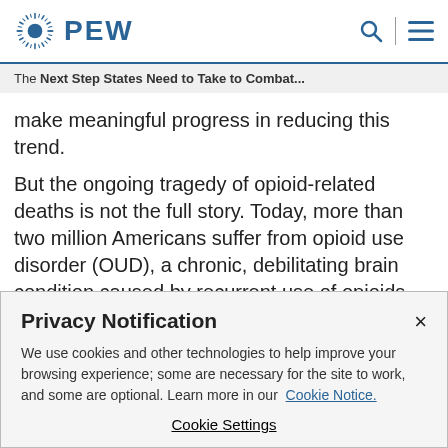PEW
The Next Step States Need to Take to Combat...
make meaningful progress in reducing this trend.
But the ongoing tragedy of opioid-related deaths is not the full story. Today, more than two million Americans suffer from opioid use disorder (OUD), a chronic, debilitating brain condition caused by recurrent use of opioids for
Privacy Notification
We use cookies and other technologies to help improve your browsing experience; some are necessary for the site to work, and some are optional. Learn more in our Cookie Notice.
Cookie Settings